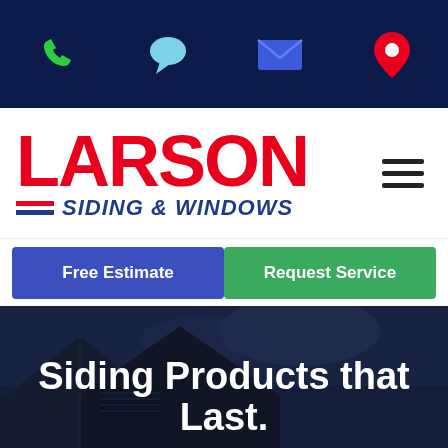[Figure (screenshot): Top navigation bar on dark navy background with four icons: green phone, light blue chat bubble, blue envelope, and red location pin]
[Figure (logo): Larson Siding & Windows logo — LARSON in large red bold text, below it red and blue horizontal stripes followed by SIDING & WINDOWS in dark blue italic bold text. Hamburger menu icon on the right.]
[Figure (screenshot): Two call-to-action buttons: blue 'Free Estimate' button on the left, green 'Request Service' button on the right]
[Figure (photo): Hero image of dark residential rooftop at night/dusk with dark blue sky background. Overlaid white bold text reads 'Siding Products that Last.']